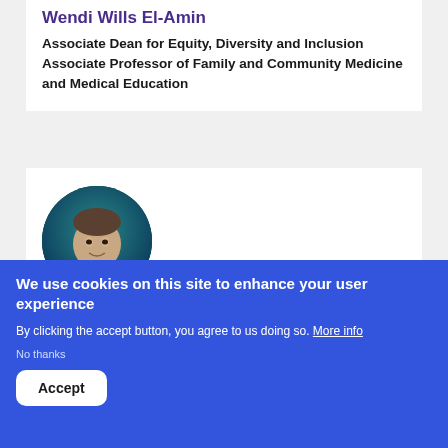Wendi Wills El-Amin
Associate Dean for Equity, Diversity and Inclusion
Associate Professor of Family and Community Medicine and Medical Education
[Figure (photo): Circular professional headshot of a man in a dark suit with a tie, against a dark teal background]
We use cookies on this site to enhance your user experience
By clicking the accept button, you agree to us doing so. More info
No thanks
Accept